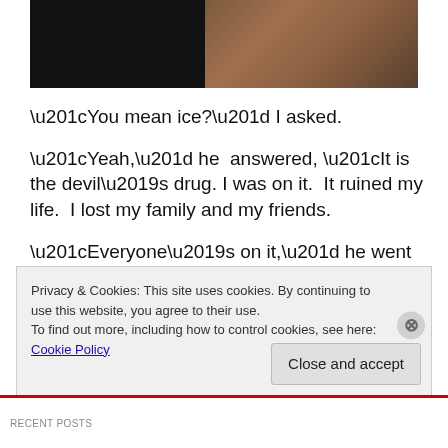[Figure (photo): Dark photograph showing a figure against a stone wall background]
“You mean ice?” I asked.
“Yeah,” he  answered, “It is the devil’s drug. I was on it.  It ruined my life.  I lost my family and my friends.
“Everyone’s on it,” he went on, “it’s taking over this city.”
I was talking to Jacob last night on the street.  A young guy
Privacy & Cookies: This site uses cookies. By continuing to use this website, you agree to their use.
To find out more, including how to control cookies, see here: Cookie Policy
Close and accept